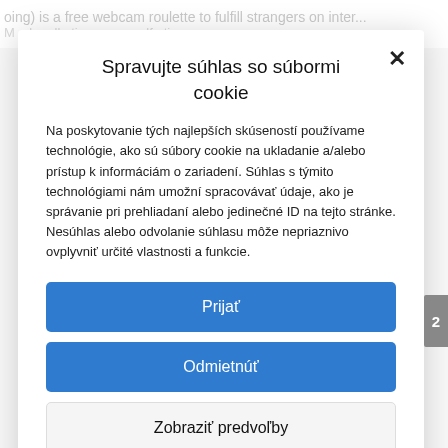oing) is a free webcam roulette to fulfill strangers on inter...
Spravujte súhlas so súbormi cookie
Na poskytovanie tých najlepších skúseností používame technológie, ako sú súbory cookie na ukladanie a/alebo prístup k informáciám o zariadení. Súhlas s týmito technológiami nám umožní spracovávať údaje, ako je správanie pri prehliadaní alebo jedinečné ID na tejto stránke. Nesúhlas alebo odvolanie súhlasu môže nepriaznivo ovplyvniť určité vlastnosti a funkcie.
Prijať
Odmietnúť
Zobraziť predvoľby
Zásady používania súborov cookie